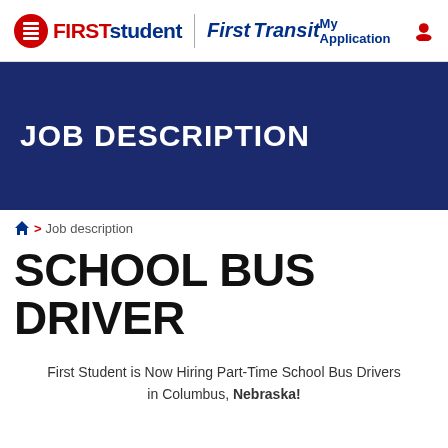FIRST student | First Transit | My Application
JOB DESCRIPTION
Home > Job description
SCHOOL BUS DRIVER
First Student is Now Hiring Part-Time School Bus Drivers in Columbus, Nebraska!